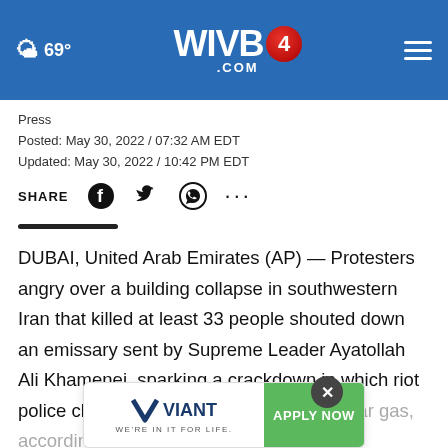69° WIVB4.COM
Press
Posted: May 30, 2022 / 07:32 AM EDT
Updated: May 30, 2022 / 10:42 PM EDT
SHARE
DUBAI, United Arab Emirates (AP) — Protesters angry over a building collapse in southwestern Iran that killed at least 33 people shouted down an emissary sent by Supreme Leader Ayatollah Ali Khamenei, sparking a crackdown in which riot police clubbed demonstrators and fired tear gas, according to online video
[Figure (logo): Viant 'We're in it for life' advertisement banner with Apply Now button]